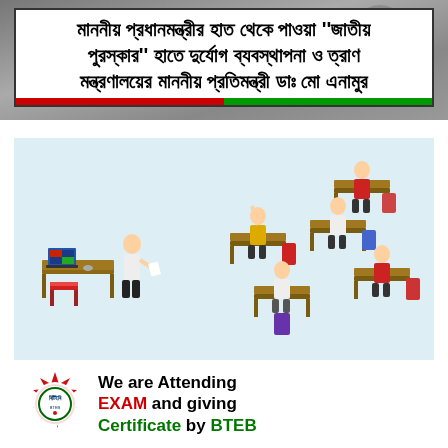[Figure (photo): Partial photo of people visible at top of page behind headline overlay]
মাননীয় প্রধানমন্ত্রীর হাত থেকে পাওয়া ''জাতীয় পুরস্কার'' হাতে দুর্যোগ ব্যবস্থাপনা ও ত্রাণ মন্ত্রণালয়ের মাননীয় প্রতিমন্ত্রী ডাঃ মো এনামুর
[Figure (illustration): Isometric illustration of a classroom scene with students sitting at desks, a teacher standing at front with a laptop, students raising hands, and backpacks on the floor]
[Figure (logo): BTEB (Bangladesh Technical Education Board) circular logo with red starburst border and green circular design]
We are Attending EXAM and giving Certificate by BTEB